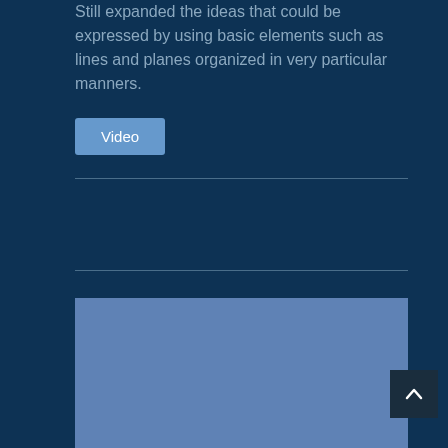Still expanded the ideas that could be expressed by using basic elements such as lines and planes organized in very particular manners.
Video
[Figure (other): A rectangular video embed placeholder with a medium blue/slate background color]
[Figure (other): Scroll-to-top button arrow icon in bottom right corner]